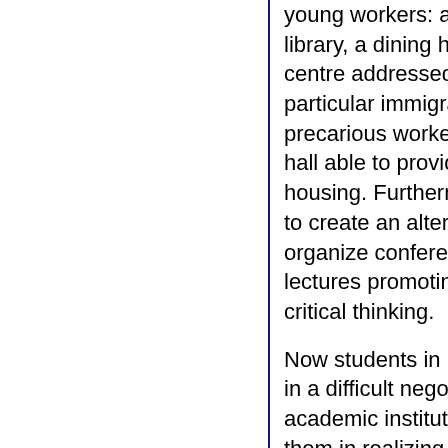young workers: a copypoint, a library, a dining hall, a consultancy centre addressed to student (in particular immigrant ones) and precarious workers and a residence hall able to provide them low price housing. Furthermore the aim is also to create an alternative space to organize conferences, seminars and lectures promoting free culture and critical thinking.
Now students in Pavia are involved in a difficult negotiation with the academic institution. In order to help them in realizing this interesting